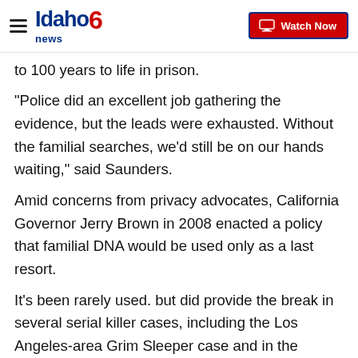Idaho News 6 | Watch Now
to 100 years to life in prison.
"Police did an excellent job gathering the evidence, but the leads were exhausted. Without the familial searches, we'd still be on our hands waiting," said Saunders.
Amid concerns from privacy advocates, California Governor Jerry Brown in 2008 enacted a policy that familial DNA would be used only as a last resort.
It's been rarely used. but did provide the break in several serial killer cases, including the Los Angeles-area Grim Sleeper case and in the Golden State Killer case. In the latter, the mystery DNA was linked